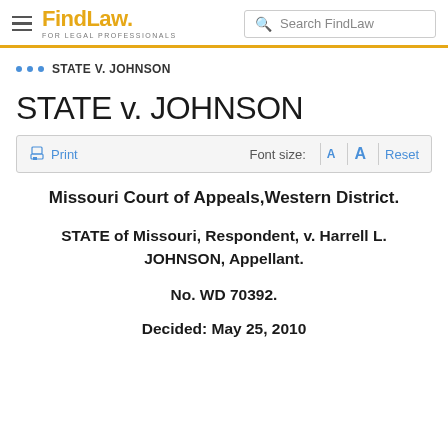FindLaw FOR LEGAL PROFESSIONALS | Search FindLaw
••• STATE V. JOHNSON
STATE v. JOHNSON
Print | Font size: A A Reset
Missouri Court of Appeals,Western District.
STATE of Missouri, Respondent, v. Harrell L. JOHNSON, Appellant.
No. WD 70392.
Decided: May 25, 2010